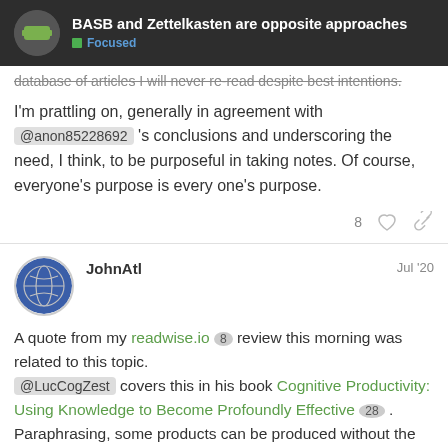BASB and Zettelkasten are opposite approaches — Focused
database of articles I will never re-read despite best intentions.
I'm prattling on, generally in agreement with @anon85228692 's conclusions and underscoring the need, I think, to be purposeful in taking notes. Of course, everyone's purpose is every one's purpose.
8 ♡ 🔗
JohnAtl  Jul '20
A quote from my readwise.io 8 review this morning was related to this topic.
@LucCogZest covers this in his book Cognitive Productivity: Using Knowledge to Become Profoundly Effective 28 .
Paraphrasing, some products can be produced without the need to develop personally. This involves a trans knowledge, held only long enough to prod
2 / 19